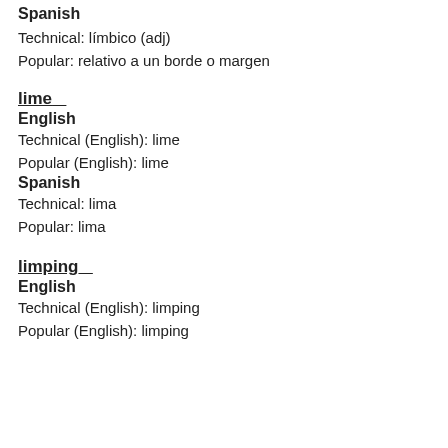Spanish
Technical: límbico (adj)
Popular: relativo a un borde o margen
lime
English
Technical (English): lime
Popular (English): lime
Spanish
Technical: lima
Popular: lima
limping
English
Technical (English): limping
Popular (English): limping